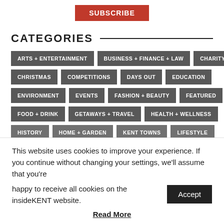[Figure (other): Red SUBSCRIBE button at top center of page]
CATEGORIES
ARTS + ENTERTAINMENT
BUSINESS + FINANCE + LAW
CHARITY
CHRISTMAS
COMPETITIONS
DAYS OUT
EDUCATION
ENVIRONMENT
EVENTS
FASHION + BEAUTY
FEATURED
FOOD + DRINK
GETAWAYS + TRAVEL
HEALTH + WELLNESS
HISTORY
HOME + GARDEN
KENT TOWNS
LIFESTYLE
This website uses cookies to improve your experience. If you continue without changing your settings, we'll assume that you're happy to receive all cookies on the insideKENT website.
Accept
Read More